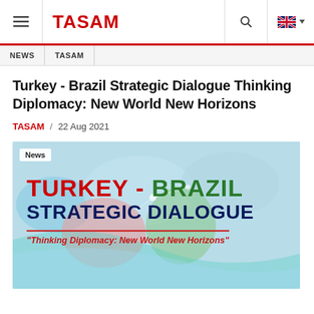≡ TASAM | NEWS | TASAM
Turkey - Brazil Strategic Dialogue Thinking Diplomacy: New World New Horizons
TASAM / 22 Aug 2021
[Figure (illustration): Banner image for Turkey-Brazil Strategic Dialogue event with world map background. Text reads: TURKEY - BRAZIL STRATEGIC DIALOGUE. Subtitle: 'Thinking Diplomacy: New World New Horizons'. A 'News' tag is shown in the top-left corner.]